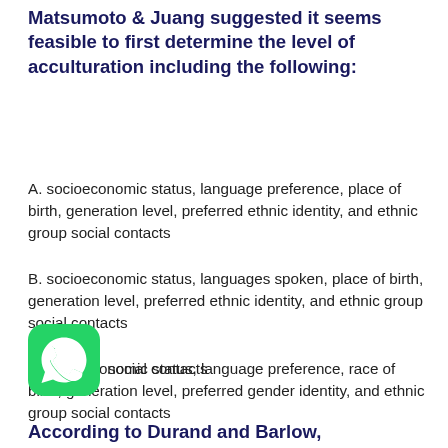Matsumoto & Juang suggested it seems feasible to first determine the level of acculturation including the following:
A. socioeconomic status, language preference, place of birth, generation level, preferred ethnic identity, and ethnic group social contacts
B. socioeconomic status, languages spoken, place of birth, generation level, preferred ethnic identity, and ethnic group social contacts
C. socioeconomic status, language preference, race of birth, generation level, preferred gender identity, and ethnic group social contacts
D. socioeconomic status, sexual preference, date of birth, generation level, preferred ethnic identity, and ethnic group social contacts
[Figure (logo): WhatsApp logo icon — green rounded square with white phone handset inside speech bubble]
According to Durand and Barlow,